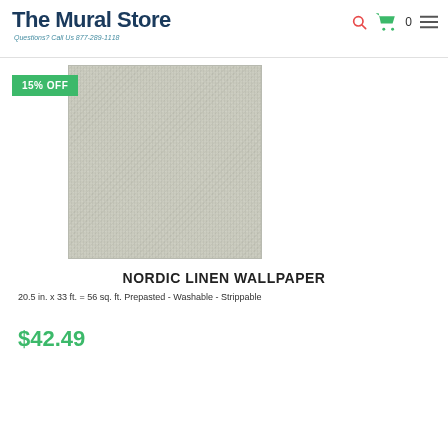The Mural Store — Questions? Call Us 877-289-1118
[Figure (photo): Product photo of Nordic Linen Wallpaper — light gray linen-textured wallpaper swatch with a 15% OFF badge overlaid on the top-left corner]
NORDIC LINEN WALLPAPER
20.5 in. x 33 ft. = 56 sq. ft. Prepasted - Washable - Strippable
$42.49